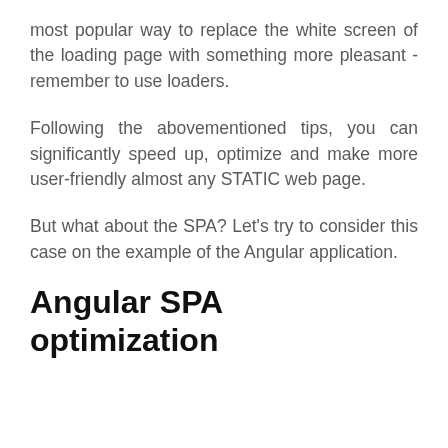most popular way to replace the white screen of the loading page with something more pleasant - remember to use loaders.
Following the abovementioned tips, you can significantly speed up, optimize and make more user-friendly almost any STATIC web page.
But what about the SPA? Let's try to consider this case on the example of the Angular application.
Angular SPA optimization